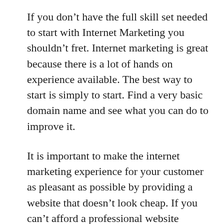If you don't have the full skill set needed to start with Internet Marketing you shouldn't fret. Internet marketing is great because there is a lot of hands on experience available. The best way to start is simply to start. Find a very basic domain name and see what you can do to improve it.
It is important to make the internet marketing experience for your customer as pleasant as possible by providing a website that doesn't look cheap. If you can't afford a professional website design, consider taking a low cost course at a local county college and spruce up your site with the tips that you learn.